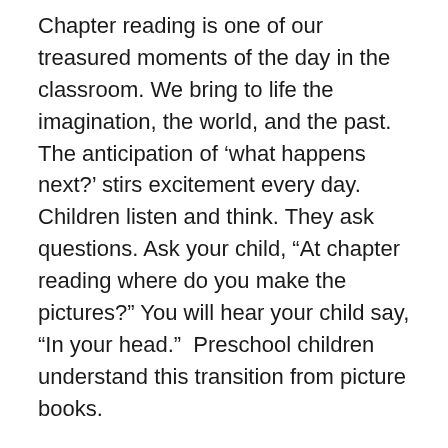Chapter reading is one of our treasured moments of the day in the classroom. We bring to life the imagination, the world, and the past. The anticipation of 'what happens next?' stirs excitement every day. Children listen and think. They ask questions. Ask your child, “At chapter reading where do you make the pictures?” You will hear your child say, “In your head.”  Preschool children understand this transition from picture books.
When we finish a book and then start a new one, emotions run high and low. The end of a good book is so satisfying and pleasant, yet…it is over. That is the wonderful roller coaster of reading. And, with each chapter book we read, we ride that roller coaster over and over again.
We have started reading Little House in the Big Woods by Laura Ingalls Wilder. The story is based in the 1870's, in